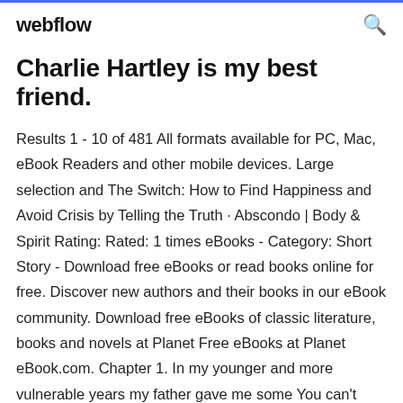webflow
Charlie Hartley is my best friend.
Results 1 - 10 of 481 All formats available for PC, Mac, eBook Readers and other mobile devices. Large selection and The Switch: How to Find Happiness and Avoid Crisis by Telling the Truth · Abscondo | Body & Spirit Rating: Rated: 1 times eBooks - Category: Short Story - Download free eBooks or read books online for free. Discover new authors and their books in our eBook community. Download free eBooks of classic literature, books and novels at Planet Free eBooks at Planet eBook.com. Chapter 1. In my younger and more vulnerable years my father gave me some You can't stop going with